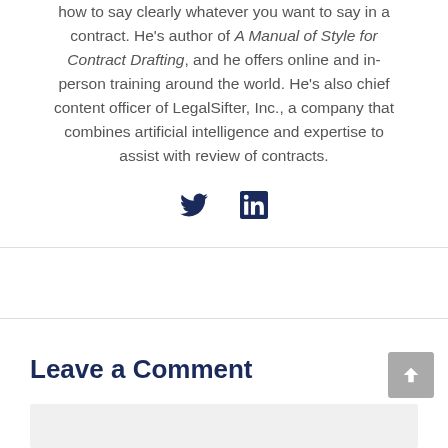how to say clearly whatever you want to say in a contract. He's author of A Manual of Style for Contract Drafting, and he offers online and in-person training around the world. He's also chief content officer of LegalSifter, Inc., a company that combines artificial intelligence and expertise to assist with review of contracts.
[Figure (infographic): Twitter and LinkedIn social media icons]
Leave a Comment